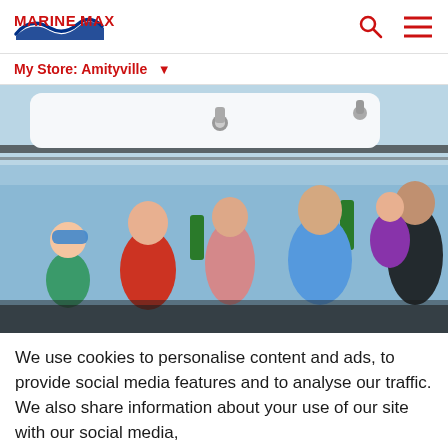[Figure (logo): MarineMax logo with red stylized text and blue wave graphic]
My Store: Amityville ▼
[Figure (photo): A group of people including adults and children standing on or near a boat deck outdoors]
We use cookies to personalise content and ads, to provide social media features and to analyse our traffic. We also share information about your use of our site with our social media,